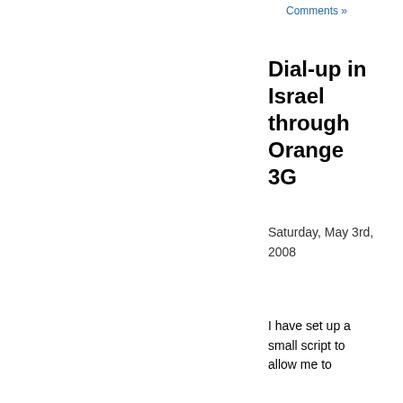Comments »
Dial-up in Israel through Orange 3G
Saturday, May 3rd, 2008
I have set up a small script to allow me to dial-